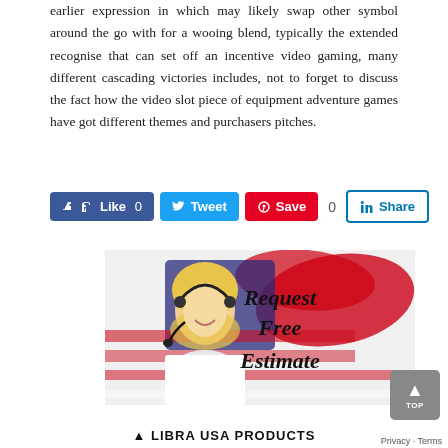earlier expression in which may likely swap other symbol around the go with for a wooing blend, typically the extended recognise that can set off an incentive video gaming, many different cascading victories includes, not to forget to discuss the fact how the video slot piece of equipment adventure games have got different themes and purchasers pitches.
[Figure (infographic): Social sharing buttons: Facebook Like (0), Twitter Tweet, Pinterest Save, LinkedIn Share (0)]
[Figure (photo): Advertisement banner showing a blonde woman with a headset in front of an American flag background with text 'Request Free Estimate']
LIBRA USA PRODUCTS